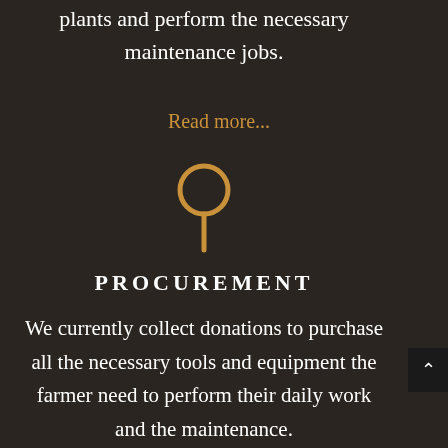plants and perform the necessary maintenance jobs.
Read more...
[Figure (illustration): Gold/amber colored location pin / magnifying glass icon on dark background]
PROCUREMENT
We currently collect donations to purchase all the necessary tools and equipment the farmer need to perform their daily work and the maintenance.